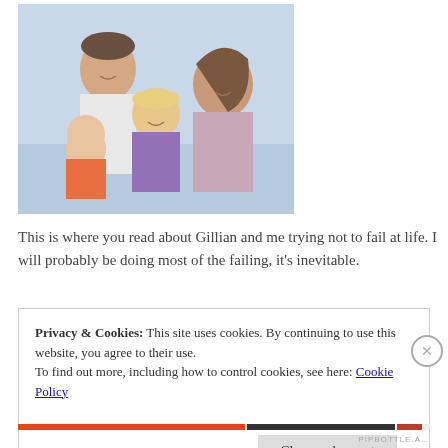[Figure (photo): Family photo showing a man holding a baby, a young blonde girl, and a woman, all smiling, outdoors with a light sky background.]
This is where you read about Gillian and me trying not to fail at life. I will probably be doing most of the failing, it's inevitable.
Privacy & Cookies: This site uses cookies. By continuing to use this website, you agree to their use.
To find out more, including how to control cookies, see here: Cookie Policy
Close and accept